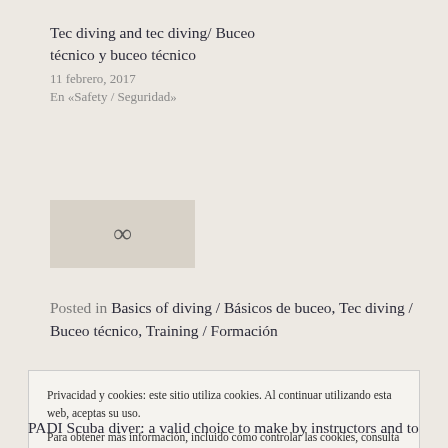Tec diving and tec diving/ Buceo técnico y buceo técnico
11 febrero, 2017
En «Safety / Seguridad»
[Figure (other): Link/share icon symbol on a grey-beige background box]
Posted in Basics of diving / Básicos de buceo, Tec diving / Buceo técnico, Training / Formación
Privacidad y cookies: este sitio utiliza cookies. Al continuar utilizando esta web, aceptas su uso.
Para obtener más información, incluido cómo controlar las cookies, consulta aquí: Política de cookies
[Button: Cerrar y aceptar]
PADI Scuba diver: a valid choice to make by instructors and to